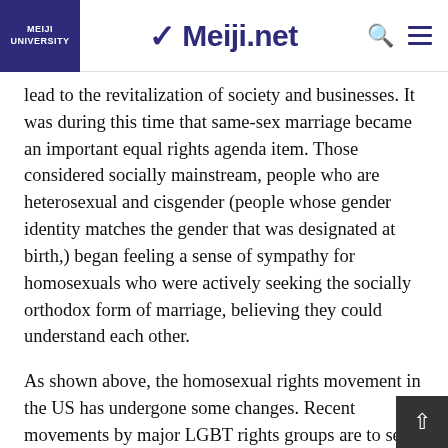Meiji University | Meiji.net
lead to the revitalization of society and businesses. It was during this time that same-sex marriage became an important equal rights agenda item. Those considered socially mainstream, people who are heterosexual and cisgender (people whose gender identity matches the gender that was designated at birth,) began feeling a sense of sympathy for homosexuals who were actively seeking the socially orthodox form of marriage, believing they could understand each other.
As shown above, the homosexual rights movement in the US has undergone some changes. Recent movements by major LGBT rights groups are to seek the same rights as cisgender, not special rights for LGBT people. These groups have been active in making their presence known as contributors to society based on the logic for efficiencies spreading this concept in society.